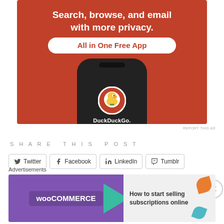[Figure (screenshot): DuckDuckGo advertisement banner showing 'Search, browse, and email with more privacy. All in One Free App' text on orange background with a phone displaying DuckDuckGo app logo]
REPORT THIS AD
SHARE THIS POST
Twitter  Facebook  LinkedIn  Tumblr
Pinterest  Reddit  Pocket  Email
Advertisements
[Figure (screenshot): WooCommerce advertisement banner: 'How to start selling subscriptions online']